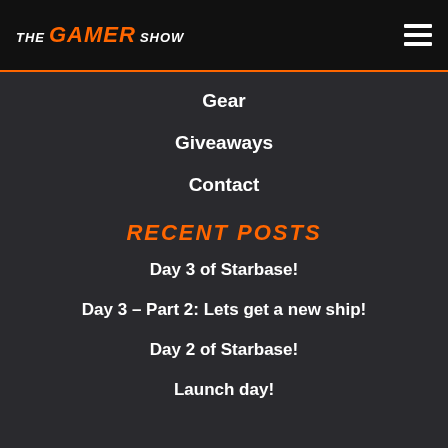THE GAMER SHOW
Gear
Giveaways
Contact
RECENT POSTS
Day 3 of Starbase!
Day 3 – Part 2: Lets get a new ship!
Day 2 of Starbase!
Launch day!